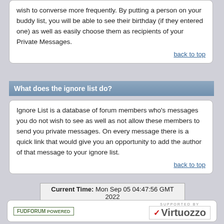wish to converse more frequently. By putting a person on your buddy list, you will be able to see their birthday (if they entered one) as well as easily choose them as recipients of your Private Messages.
back to top
What does the ignore list do?
Ignore List is a database of forum members who's messages you do not wish to see as well as not allow these members to send you private messages. On every message there is a quick link that would give you an opportunity to add the author of that message to your ignore list.
back to top
Current Time: Mon Sep 05 04:47:56 GMT 2022
FUDFORUM POWERED | SUPPORTED BY Virtuozzo